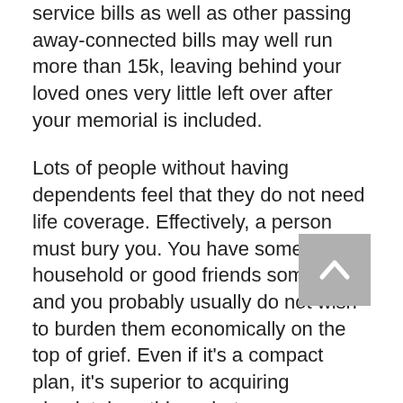service bills as well as other passing away-connected bills may well run more than 15k, leaving behind your loved ones very little left over after your memorial is included.
Lots of people without having dependents feel that they do not need life coverage. Effectively, a person must bury you. You have some household or good friends someplace, and you probably usually do not wish to burden them economically on the top of grief. Even if it's a compact plan, it's superior to acquiring absolutely nothing whatsoever.
Life insurance is almost an absolute necessity with funeral service expenses being as high as they may be. When you are planning to take out an existence insurance policies look at plenty of elements, like how